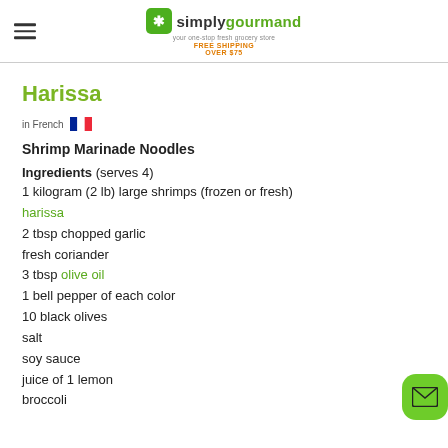simplygourmand — your one-stop fresh grocery store — FREE SHIPPING OVER $75
Harissa
in French 🇫🇷
Shrimp Marinade Noodles
Ingredients (serves 4)
1 kilogram (2 lb) large shrimps (frozen or fresh)
harissa
2 tbsp chopped garlic
fresh coriander
3 tbsp olive oil
1 bell pepper of each color
10 black olives
salt
soy sauce
juice of 1 lemon
broccoli